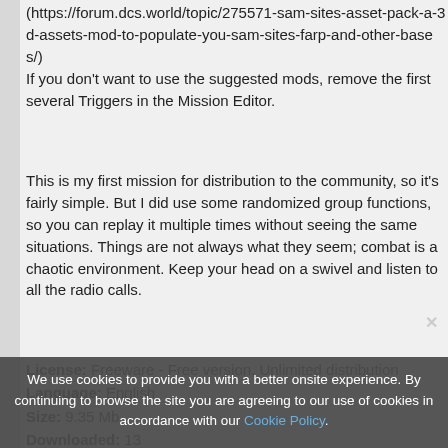(https://forum.dcs.world/topic/275571-sam-sites-asset-pack-a-3d-assets-mod-to-populate-you-sam-sites-farp-and-other-bases/) If you don't want to use the suggested mods, remove the first several Triggers in the Mission Editor.
This is my first mission for distribution to the community, so it's fairly simple. But I did use some randomized group functions, so you can replay it multiple times without seeing the same situations. Things are not always what they seem; combat is a chaotic environment. Keep your head on a swivel and listen to all the radio calls.
License: Freeware - Free version, Unlimited distribution
Language: English
Size: 9.35 Mb
Downloaded: 13
Comments: 0
Tags: A-10A, single mission, A-6, CAS
We use cookies to provide you with a better onsite experience. By continuing to browse the site you are agreeing to our use of cookies in accordance with our Cookie Policy.